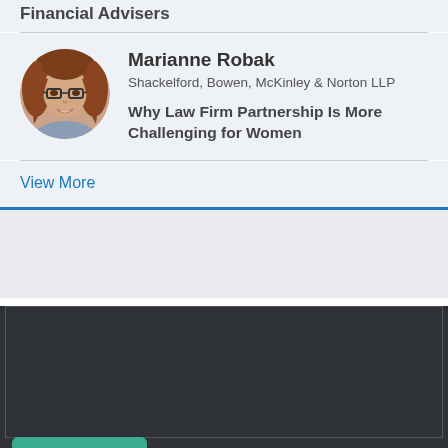Financial Advisers
[Figure (photo): Circular headshot of Marianne Robak, a woman with glasses and long brown hair, smiling]
Marianne Robak
Shackelford, Bowen, McKinley & Norton LLP
Why Law Firm Partnership Is More Challenging for Women
View More
Give Feedback